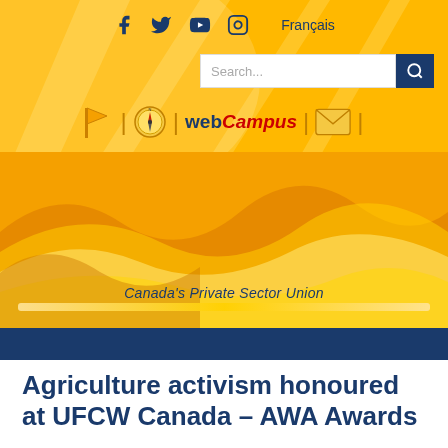[Figure (screenshot): UFCW Canada website header with golden/orange gradient background with light rays, social media icons (Facebook, Twitter, YouTube, Instagram), Français language link, search bar, and navigation icons including a flag icon, compass icon, webCampus logo, and envelope icon. Below is a decorative wave pattern in orange/yellow tones. Text reads 'Canada's Private Sector Union' followed by a gold bar and dark blue band.]
Agriculture activism honoured at UFCW Canada – AWA Awards